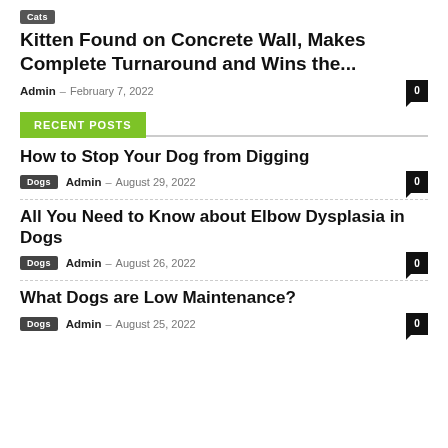Cats
Kitten Found on Concrete Wall, Makes Complete Turnaround and Wins the...
Admin – February 7, 2022  0
RECENT POSTS
How to Stop Your Dog from Digging
Dogs  Admin – August 29, 2022  0
All You Need to Know about Elbow Dysplasia in Dogs
Dogs  Admin – August 26, 2022  0
What Dogs are Low Maintenance?
Dogs  Admin – August 25, 2022  0